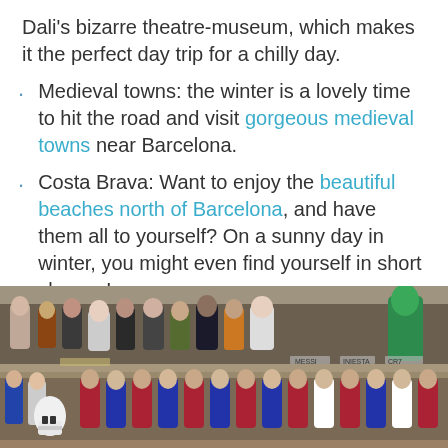Dali's bizarre theatre-museum, which makes it the perfect day trip for a chilly day.
Medieval towns: the winter is a lovely time to hit the road and visit gorgeous medieval towns near Barcelona.
Costa Brava: Want to enjoy the beautiful beaches north of Barcelona, and have them all to yourself? On a sunny day in winter, you might even find yourself in short sleeves!
[Figure (photo): Shelves of miniature figurines/souvenirs depicting various characters and people, displayed in a shop in Barcelona.]